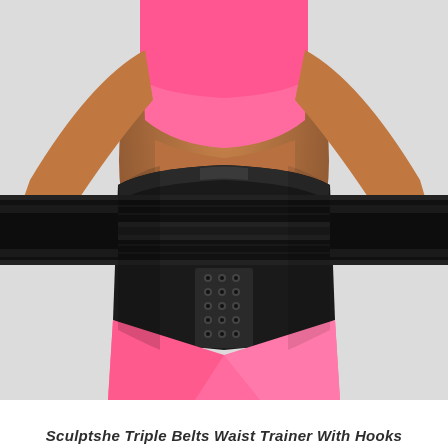[Figure (photo): A woman wearing a black Sculptshe Triple Belts Waist Trainer With Hooks over a pink sports bra and pink leggings. The waist trainer has three horizontal belts and a hook closure panel in the front center.]
Sculptshe Triple Belts Waist Trainer With Hooks